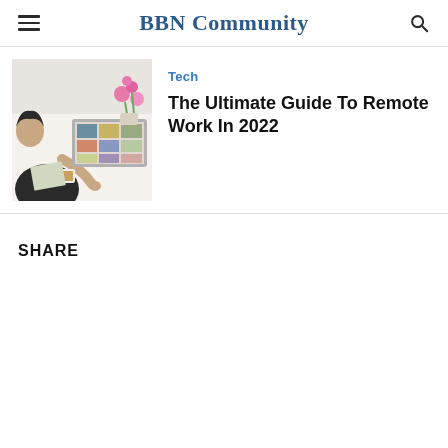BBN Community
[Figure (photo): Overhead view of a person working at a laptop with colorful photos displayed on screen, flowers in background, coffee cup and notebook on desk]
Tech
The Ultimate Guide To Remote Work In 2022
SHARE